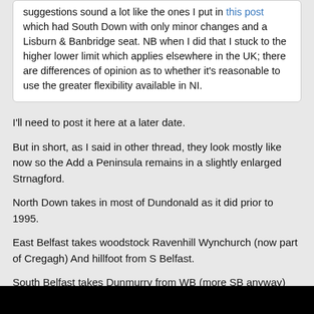suggestions sound a lot like the ones I put in this post which had South Down with only minor changes and a Lisburn & Banbridge seat. NB when I did that I stuck to the higher lower limit which applies elsewhere in the UK; there are differences of opinion as to whether it's reasonable to use the greater flexibility available in NI.
I'll need to post it here at a later date.
But in short, as I said in other thread, they look mostly like now so the Add a Peninsula remains in a slightly enlarged Strnagford.
North Down takes in most of Dundonald as it did prior to 1995.
East Belfast takes woodstock Ravenhill Wynchurch (now part of Cregagh) And hillfoot from S Belfast.
South Belfast takes Dunmurry from WB (more SB anyway) along with it neighbouring SB wards of Derriaghy and Lambeg from Lagan Valley.
West Belfast just unites the Shankill